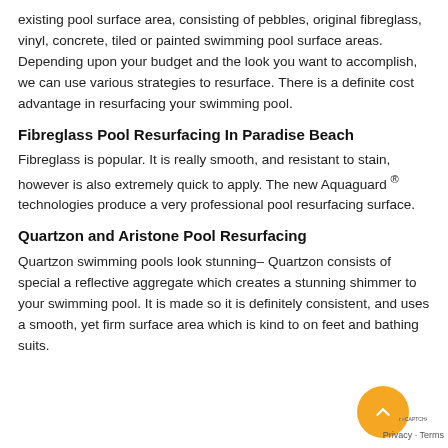existing pool surface area, consisting of pebbles, original fibreglass, vinyl, concrete, tiled or painted swimming pool surface areas. Depending upon your budget and the look you want to accomplish, we can use various strategies to resurface. There is a definite cost advantage in resurfacing your swimming pool.
Fibreglass Pool Resurfacing In Paradise Beach
Fibreglass is popular. It is really smooth, and resistant to stain, however is also extremely quick to apply. The new Aquaguard ® technologies produce a very professional pool resurfacing surface.
Quartzon and Aristone Pool Resurfacing
Quartzon swimming pools look stunning– Quartzon consists of special a reflective aggregate which creates a stunning shimmer to your swimming pool. It is made so it is definitely consistent, and uses a smooth, yet firm surface area which is kind to on feet and bathing suits.